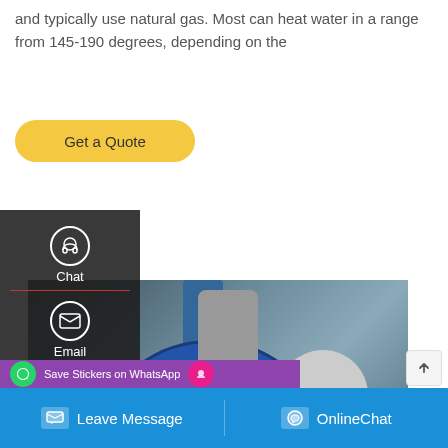and typically use natural gas. Most can heat water in a range from 145-190 degrees, depending on the
Get a Quote
[Figure (screenshot): Dark sidebar UI overlay with headset/Chat, email/Email, and speech-bubble/Contact icons on a dark background, with red dividers between sections]
[Figure (photo): Industrial boiler equipment photograph showing large blue cylindrical boiler with Chinese characters, silver cylindrical chimney/pipe, and associated machinery in a factory setting]
Save Stickers on WhatsApp
NENTS OF
Leave Message   OnlineChat